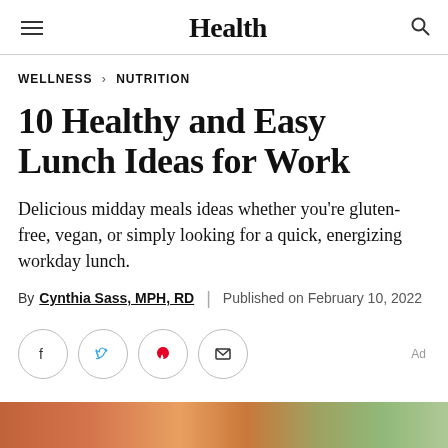Health
WELLNESS > NUTRITION
10 Healthy and Easy Lunch Ideas for Work
Delicious midday meals ideas whether you're gluten-free, vegan, or simply looking for a quick, energizing workday lunch.
By Cynthia Sass, MPH, RD | Published on February 10, 2022
[Figure (infographic): Social sharing buttons: Facebook, Twitter, Pinterest, Email (circle icons), and Ad label]
[Figure (photo): Bottom partial image of food dishes, cropped at bottom of page]